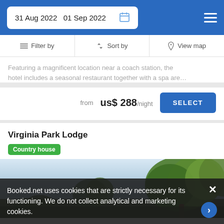31 Aug 2022  01 Sep 2022
Filter by   Sort by   View map
Featuring a magnificent location near a coach station, the hotel includes a seasonal restaurant together with a spa are…
from  us$ 288/night
Virginia Park Lodge
Country house
[Figure (photo): Outdoor photo of Virginia Park Lodge showing trees and greenery against a bright sky]
Booked.net uses cookies that are strictly necessary for its functioning. We do not collect analytical and marketing cookies.